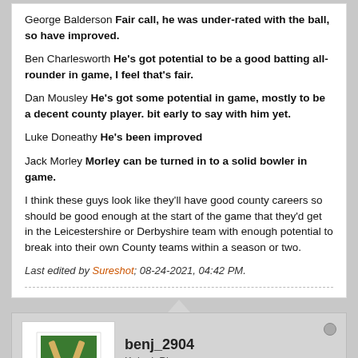George Balderson Fair call, he was under-rated with the ball, so have improved.

Ben Charlesworth He's got potential to be a good batting all-rounder in game, I feel that's fair.

Dan Mousley He's got some potential in game, mostly to be a decent county player. bit early to say with him yet.

Luke Doneathy He's been improved

Jack Morley Morley can be turned in to a solid bowler in game.

I think these guys look like they'll have good county careers so should be good enough at the start of the game that they'd get in the Leicestershire or Derbyshire team with enough potential to break into their own County teams within a season or two.

Last edited by Sureshot; 08-24-2021, 04:42 PM.
[Figure (logo): Worcestershire Cricket logo — shield shape with bats and ball, green and white with 'WORCESTERSHIRE CRICKET' text]
benj_2904
Kolpak Player
Join Date: Jun 2010   Posts: 77